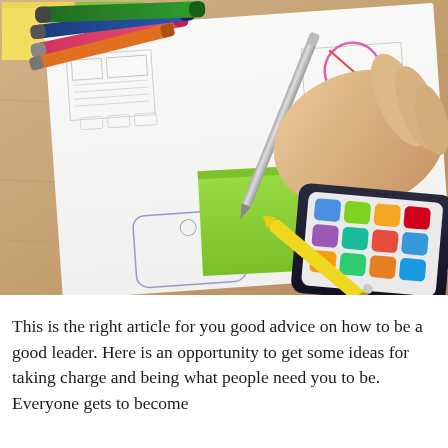[Figure (photo): A person's hand holding a pen and writing on a green sticky note placed on top of white papers with wireframe sketches. A smartphone lies nearby on the papers. Colorful markers and highlighters are scattered on a wooden desk surface. Yellow sticky notes are visible at the top left.]
This is the right article for you good advice on how to be a good leader. Here is an opportunity to get some ideas for taking charge and being what people need you to be. Everyone gets to become